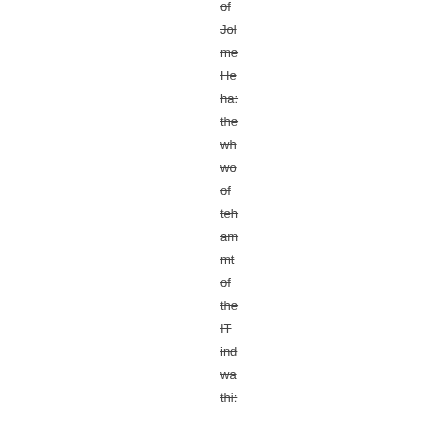of Jol me He ha: the wh wo of teh am mt of the IT ind wa thi: